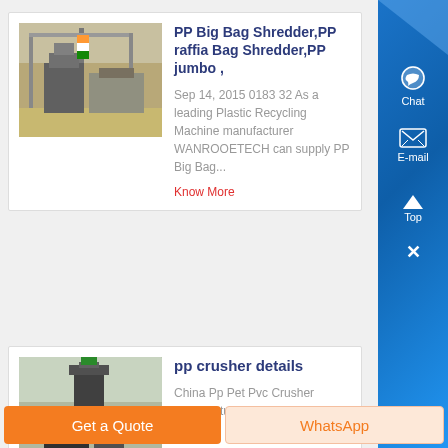[Figure (photo): Industrial shredder machine inside a large warehouse/factory building]
PP Big Bag Shredder,PP raffia Bag Shredder,PP jumbo ,
Sep 14, 2015 0183 32 As a leading Plastic Recycling Machine manufacturer WANROOETECH can supply PP Big Bag...
Know More
[Figure (photo): Industrial pp crusher/processing equipment outdoors]
pp crusher details
China Pp Pet Pvc Crusher manufacturers - Select 2017
Get a Quote
WhatsApp